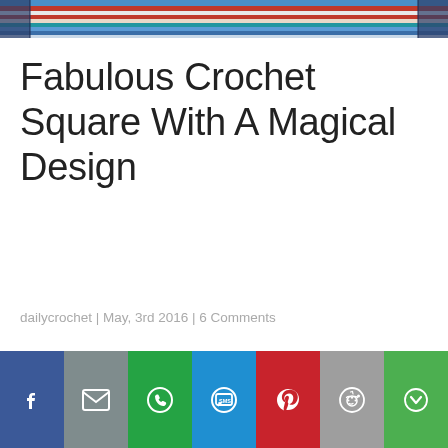[Figure (photo): Top portion of a colorful crochet square with blue, red, and teal yarn colors visible at the top edge of the page]
Fabulous Crochet Square With A Magical Design
dailycrochet | May, 3rd 2016 | 6 Comments
This square with such an unusual design and a very interesting central motif requires intermediate/advanced level crochet knowledge. The Triquetra Celtic Knot Afghan Block by Joyce Lewis is a spectacular
[Figure (infographic): Social media sharing bar with icons for Facebook, Email/Mail, WhatsApp, SMS, Pinterest, Reddit, and More options]